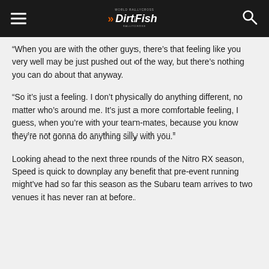DirtFish
“When you are with the other guys, there’s that feeling like you very well may be just pushed out of the way, but there’s nothing you can do about that anyway.
“So it’s just a feeling. I don’t physically do anything different, no matter who’s around me. It’s just a more comfortable feeling, I guess, when you’re with your team-mates, because you know they’re not gonna do anything silly with you.”
Looking ahead to the next three rounds of the Nitro RX season, Speed is quick to downplay any benefit that pre-event running might’ve had so far this season as the Subaru team arrives to two venues it has never ran at before.